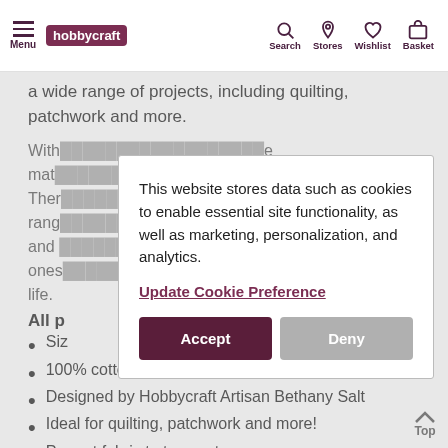Menu | hobbycraft | Search | Stores | Wishlist | Basket
a wide range of projects, including quilting, patchwork and more.
With... material... There... range... ents and... tle ones... to life.
This website stores data such as cookies to enable essential site functionality, as well as marketing, personalization, and analytics.
Update Cookie Preference
Accept | Deny
All p
Siz
100% cotton
Designed by Hobbycraft Artisan Bethany Salt
Ideal for quilting, patchwork and more!
Pre-cut fabric to two metres